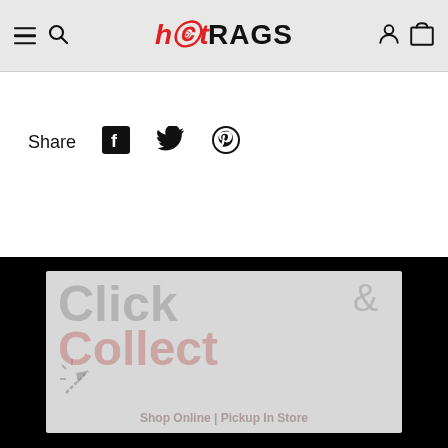hotRAGS - navigation header with menu, search, logo, user account, and cart icons
Share
[Figure (illustration): Facebook share icon (square with f logo)]
[Figure (illustration): Twitter share icon (bird logo)]
[Figure (illustration): Pinterest share icon (P in circle)]
[Figure (illustration): Click & Collect promotional banner on dark background. Text reads: Click & Collect, Shop Online | Pickup In Store. Light grey background with faded text and cursor icon graphic.]